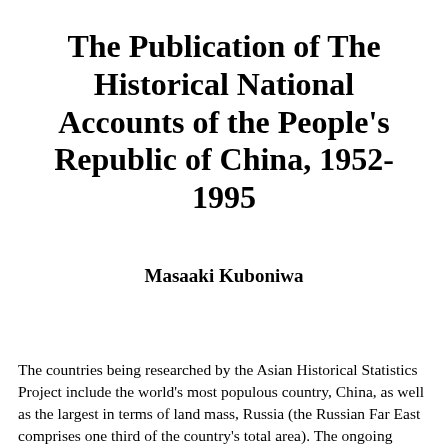The Publication of The Historical National Accounts of the People's Republic of China, 1952-1995
Masaaki Kuboniwa
The countries being researched by the Asian Historical Statistics Project include the world's most populous country, China, as well as the largest in terms of land mass, Russia (the Russian Far East comprises one third of the country's total area). The ongoing changes in these two giants are almost certain to have a decisive impact on the whole of 21st century Asia. Their political structures